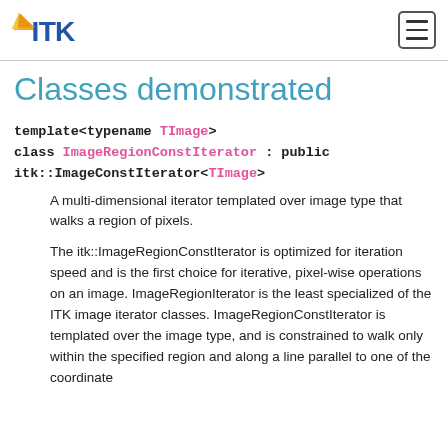ITK logo and navigation menu
Classes demonstrated
template<typename TImage>
class ImageRegionConstIterator : public itk::ImageConstIterator<TImage>
A multi-dimensional iterator templated over image type that walks a region of pixels.
The itk::ImageRegionConstIterator is optimized for iteration speed and is the first choice for iterative, pixel-wise operations on an image. ImageRegionIterator is the least specialized of the ITK image iterator classes. ImageRegionConstIterator is templated over the image type, and is constrained to walk only within the specified region and along a line parallel to one of the coordinate